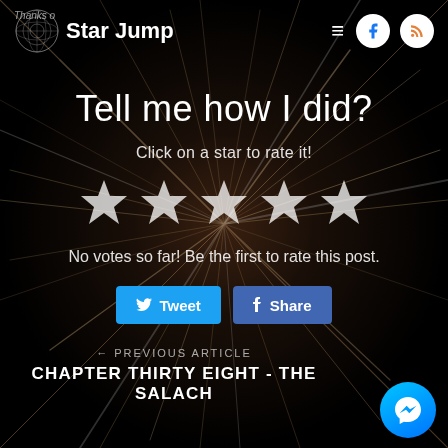Thanks o Star Jump
Tell me how I did?
Click on a star to rate it!
[Figure (illustration): Five white star icons for rating]
No votes so far! Be the first to rate this post.
Tweet  Share
← PREVIOUS ARTICLE
CHAPTER THIRTY EIGHT - THE SALACH